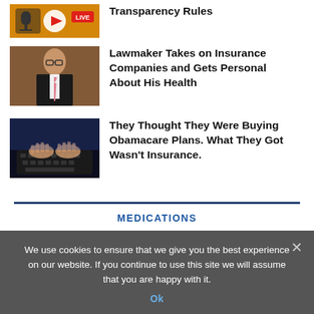[Figure (photo): Podcast/live stream thumbnail with microphone, play button and LIVE badge on orange/yellow background]
Transparency Rules
[Figure (photo): Man in suit with glasses and pink tie seated at a formal setting, appears to be a lawmaker]
Lawmaker Takes on Insurance Companies and Gets Personal About His Health
[Figure (photo): Hands typing on a laptop keyboard in dark lighting]
They Thought They Were Buying Obamacare Plans. What They Got Wasn't Insurance.
MEDICATIONS
We use cookies to ensure that we give you the best experience on our website. If you continue to use this site we will assume that you are happy with it.
Ok